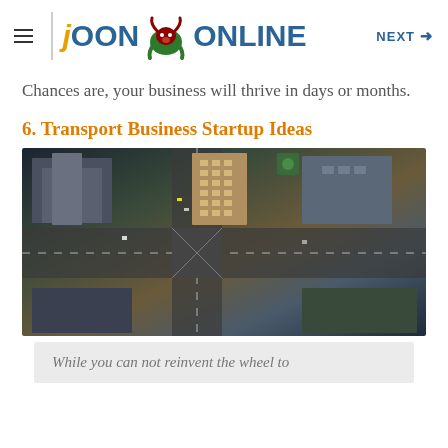JOON ONLINE  NEXT →
Chances are, your business will thrive in days or months.
6. Transport Business Startup Ideas
[Figure (photo): Aerial top-down view of a busy city intersection with tall skyscrapers and roads crossing, urban cityscape photography]
While you can not reinvent the wheel to